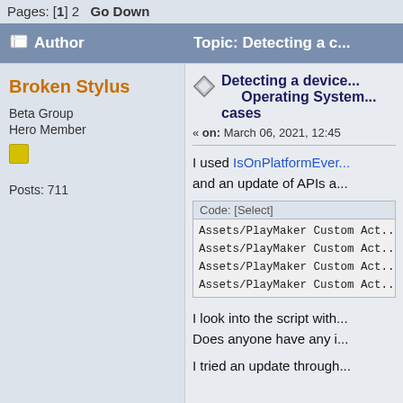Pages: [1] 2  Go Down
Author   Topic: Detecting a d...
Broken Stylus
Beta Group
Hero Member
Posts: 711
Detecting a device... Operating System... cases
« on: March 06, 2021, 12:45
I used IsOnPlatformEver... and an update of APIs a...
Code: [Select]
Assets/PlayMaker Custom Act
Assets/PlayMaker Custom Act
Assets/PlayMaker Custom Act
Assets/PlayMaker Custom Act
I look into the script with... Does anyone have any i...
I tried an update through...